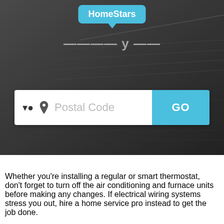[Figure (screenshot): HomeStars logo as speech bubble tooltip, positioned at top center of a dark rooftop hero image background]
[Figure (screenshot): Hero section with dark rooftop background image, partially visible white title text, and a search bar with 'Postal Code' placeholder input and a blue 'GO' button]
Whether you're installing a regular or smart thermostat, don't forget to turn off the air conditioning and furnace units before making any changes. If electrical wiring systems stress you out, hire a home service pro instead to get the job done.